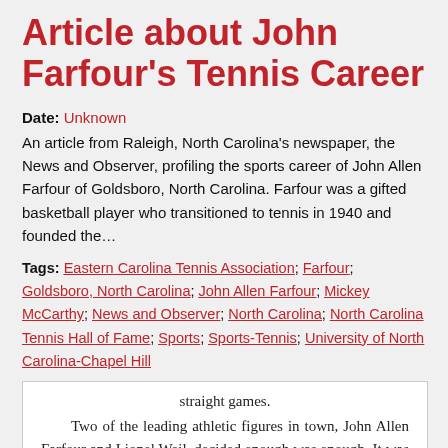Article about John Farfour's Tennis Career
Date: Unknown
An article from Raleigh, North Carolina's newspaper, the News and Observer, profiling the sports career of John Allen Farfour of Goldsboro, North Carolina. Farfour was a gifted basketball player who transitioned to tennis in 1940 and founded the…
Tags: Eastern Carolina Tennis Association; Farfour; Goldsboro, North Carolina; John Allen Farfour; Mickey McCarthy; News and Observer; North Carolina; North Carolina Tennis Hall of Fame; Sports; Sports-Tennis; University of North Carolina-Chapel Hill
[Figure (photo): Clipping of a newspaper article showing text: 'straight games. Two of the leading athletic figures in town, John Allen Farfour and Lionel Weil, decided enough was enough. It was time to']